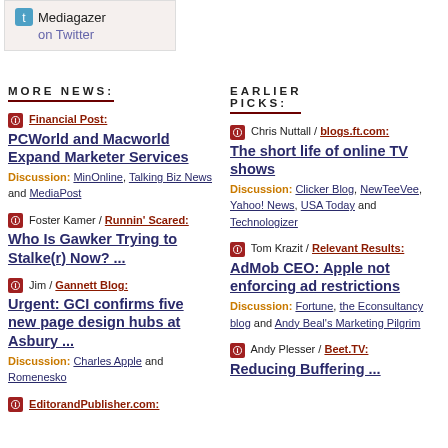[Figure (logo): Mediagazer on Twitter box with Twitter bird icon]
MORE NEWS:
Financial Post: PCWold and Macworld Expand Marketer Services. Discussion: MinOnline, Talking Biz News and MediaPost
Foster Kamer / Runnin' Scared: Who Is Gawker Trying to Stalke(r) Now? ...
Jim / Gannett Blog: Urgent: GCI confirms five new page design hubs at Asbury ... Discussion: Charles Apple and Romenesko
EditorandPublisher.com:
EARLIER PICKS:
Chris Nuttall / blogs.ft.com: The short life of online TV shows. Discussion: Clicker Blog, NewTeeVee, Yahoo! News, USA Today and Technologizer
Tom Krazit / Relevant Results: AdMob CEO: Apple not enforcing ad restrictions. Discussion: Fortune, the Econsultancy blog and Andy Beal's Marketing Pilgrim
Andy Plesser / Beet.TV: Reducing Buffering ...